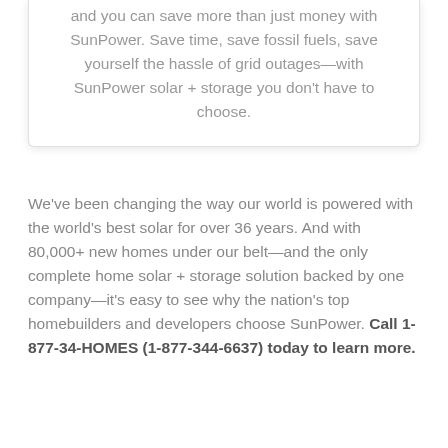and you can save more than just money with SunPower. Save time, save fossil fuels, save yourself the hassle of grid outages—with SunPower solar + storage you don't have to choose.
We've been changing the way our world is powered with the world's best solar for over 36 years. And with 80,000+ new homes under our belt—and the only complete home solar + storage solution backed by one company—it's easy to see why the nation's top homebuilders and developers choose SunPower. Call 1-877-34-HOMES (1-877-344-6637) today to learn more.